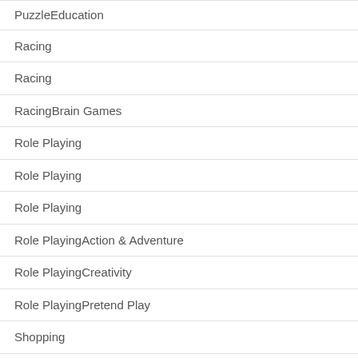PuzzleEducation
Racing
Racing
RacingBrain Games
Role Playing
Role Playing
Role Playing
Role PlayingAction & Adventure
Role PlayingCreativity
Role PlayingPretend Play
Shopping
Shopping
Simulation